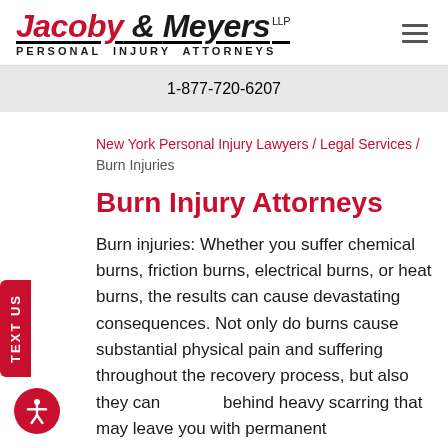[Figure (logo): Jacoby & Meyers LLP Personal Injury Attorneys logo with red italic text and underline]
1-877-720-6207
New York Personal Injury Lawyers / Legal Services / Burn Injuries
Burn Injury Attorneys
Burn injuries: Whether you suffer chemical burns, friction burns, electrical burns, or heat burns, the results can cause devastating consequences. Not only do burns cause substantial physical pain and suffering throughout the recovery process, but also they can leave behind heavy scarring that may leave you with permanent disfigurement or have you struggling with